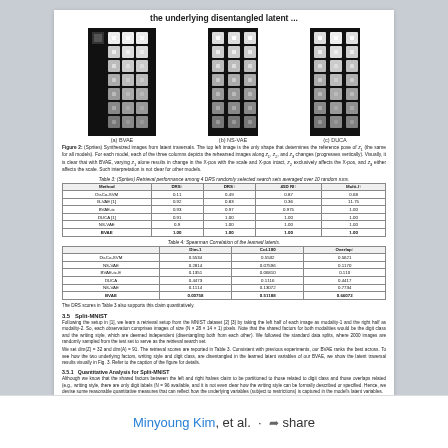the underlying disentangled latent ...
[Figure (illustration): Three sets of grid images showing sprite/latent traversal results for (a) BVAE, (b) NS-VAE, and (c) DUCA models]
Figure 2: (Sprites) Synthesized images from latent traversals. The top left image is the only shape that determines the reference pose of z1 (the same for all models). For each model, each of the three columns depicts the rehearsed images along z1, z2, and z3 changes (progresses vertically). Visually, it is clear that with BVAE, varying z1 alone results in change in the X-pos with the scale and X-pos intact, z2 exclusively affects the X-pos, and z3 either affects the scale. Such interpretation is not clear for other models.
Table 3: (Sprites) Retrieval performance among 4 DRS randomly selected search sets averaged over 10 random runs.
| Method | DRS↑ | DRS↑ | 45D RI↑ | Multi-I↑ |
| --- | --- | --- | --- | --- |
| DisCo-SVM | 0.11 | 0.49 | 0.87 | 0.68 |
| B-VAE [1] | 0.92 | 0.83 | 0.36 | 11.75 |
| BVAE-tc | 0.93 | 0.97 | 0.975 | 1.00 |
| DUCA [1] | 0.91 | 1.00 | 1.00 | 1.00 |
| NS-VAE | 0.9 | 1.00 | 1.00 | 1.00 |
| BVAE | 1.00 | 1.00 | 1.00 | 1.00 |
Table 4: Spearman Correlation of the learned latents.
|  | Dim-1 | Col-100 | Overlap↑ |
| --- | --- | --- | --- |
| DisCo-SVM | 0.5534 | 0.5532 | 0.5621 |
| NS-VAE | 0.2814 | 0.07596 | 0.1170 |
| BVAE-tc-E | 0.1351 | 0.06810 | 0.110 |
| DUCA | 0.4473 | 0.1116 | 0.4417 |
| NS-VAE | 0.1114 | 0.13072 | 0.7734 |
| BVAE | 0.00758 | 0.51188 | 0.66072 |
The DRS scores in Table 3 also supports this claim quantitatively.
3.5   Split-MNIST
Following the setup in [1], we learn a retrieval setup from the MNIST dataset [2] [3] by taking the left half of each image as modality-1 and the right half as modality-2. So, each observation comprises images of size (N × 28 × 14 × 1) pixels. Note that the shared factors for both modalities would be the digit class and the writing style, which are deemed independent (disentangling both from each other). We followed the standard data splits, where 2000 images are randomly sampled from the test set to serve as the retrieval search set.
We set dim(Z) = 32 and dim(A) = 91. The retrieval scores are reported in Table 3. Consistent with previous experiments, our BVAE ranks the best across. To see how the two underlying factors, writing style and digit class, are disentangled in the learned latent variables of our BVAE, we show the latent traversal results visually in Fig. 3. Refer to the caption of the figure for details.
3.5.1   Quantitative Analysis for Split-MNIST
Although we know that the shared factors between the left and right halves claim to be partitioned to those related to digit class and those overlaps related (e.g., writing style, there are only digit labels (N = 96 available, and it is not even clear how the writing style can be formally described or specified. Hence, we devise some reasonable quantitative measures that can reflect how the underlying variables (subject to restrictions) is captured in the model's latent variables.
7
Minyoung Kim, et al. · share